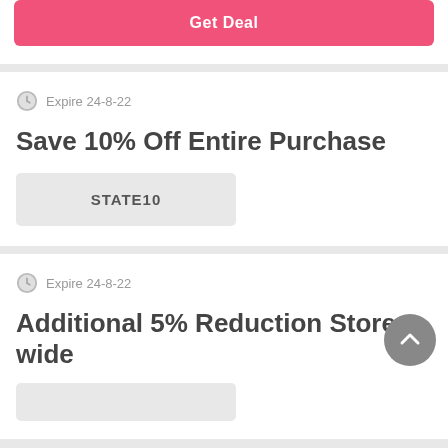Get Deal
Expire 24-8-22
Save 10% Off Entire Purchase
STATE10
Expire 24-8-22
Additional 5% Reduction Store-wide